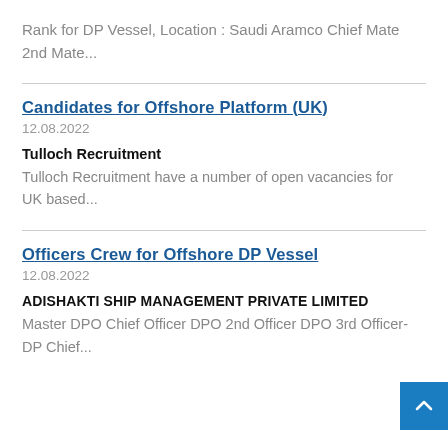Rank for DP Vessel, Location : Saudi Aramco Chief Mate 2nd Mate...
Candidates for Offshore Platform (UK)
12.08.2022
Tulloch Recruitment
Tulloch Recruitment have a number of open vacancies for UK based...
Officers Crew for Offshore DP Vessel
12.08.2022
ADISHAKTI SHIP MANAGEMENT PRIVATE LIMITED
Master DPO Chief Officer DPO 2nd Officer DPO 3rd Officer-DP Chief...